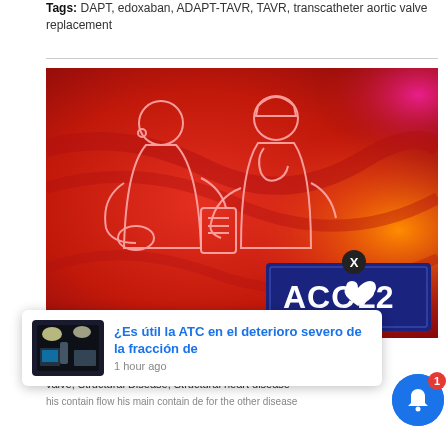Tags: DAPT, edoxaban, ADAPT-TAVR, TAVR, transcatheter aortic valve replacement
[Figure (photo): Medical illustration on red swirling background showing two outlined figures of a doctor and patient, with ACC22 conference logo overlay (April 2, Washington DC)]
[Figure (screenshot): Popup notification card with thumbnail of surgical room image and Spanish headline '¿Es útil la ATC en el deterioro severo de la fracción de' with timestamp '1 hour ago']
valve, Structural Disease, Structural heart disease
his contain flow his main contain de for the other disease